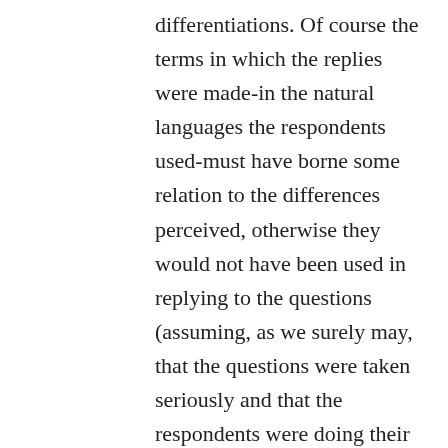differentiations. Of course the terms in which the replies were made-in the natural languages the respondents used-must have borne some relation to the differences perceived, otherwise they would not have been used in replying to the questions (assuming, as we surely may, that the questions were taken seriously and that the respondents were doing their honest best). But it was assumed that what the respondents were using in their replies were essentially colour terminologies, distinguishing hues, and that assumption was unfounded in general,